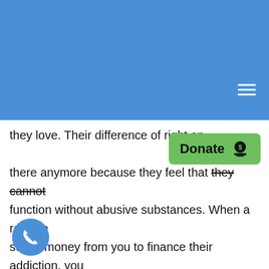they love. Their difference of right and wrong is no longer there anymore because they feel that they cannot function without abusive substances. When a relative steals money from you to finance their addiction, you need to confront them about it in a non-judgmental way so that they can come to you for help.

The first thing to do is give yourself some time to cool down as soon as you find out your relative is stealing money from you. Think about what you are going to say before you say it. You can write down your feelings in a letter so you can vent out all of your frustration, anger,